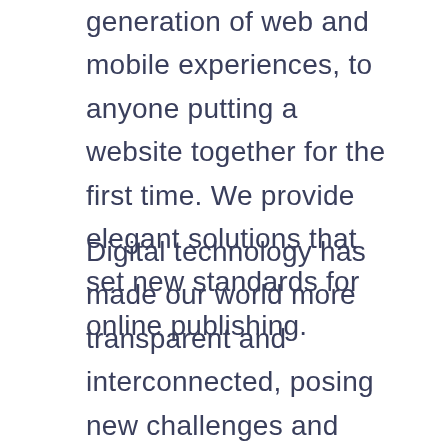generation of web and mobile experiences, to anyone putting a website together for the first time. We provide elegant solutions that set new standards for online publishing.
Digital technology has made our world more transparent and interconnected, posing new challenges and opportunities for every business. A holistic, user-centric perspective is what truly sets one apart.